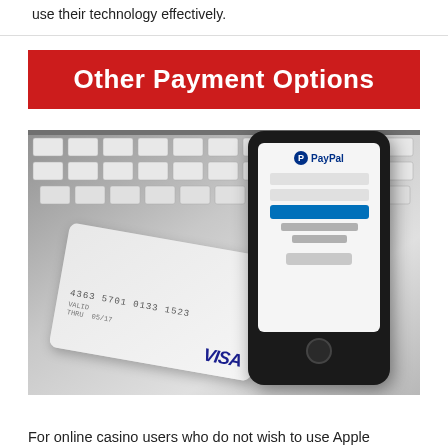use their technology effectively.
Other Payment Options
[Figure (photo): Photo of a hand holding a smartphone displaying the PayPal login screen, alongside a VISA credit card (number 4363 5701 0133 1523), placed on a laptop keyboard.]
For online casino users who do not wish to use Apple